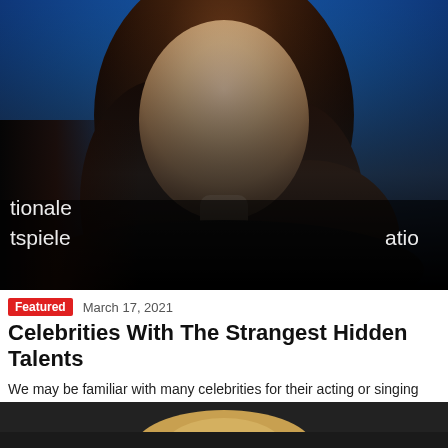[Figure (photo): Portrait photo of a woman with long dark brown hair against a blue background, wearing dark clothing. Text overlays on left side read 'tionale' and 'tspiele', and on right side 'atio'.]
Featured   March 17, 2021
Celebrities With The Strangest Hidden Talents
We may be familiar with many celebrities for their acting or singing talents, but many of them have more to offer than just those things. There…
[Figure (photo): Partial view of a second photo showing the top of a person's head with blonde hair against a dark background.]